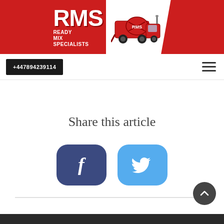[Figure (logo): RMS Ready Mix Specialists logo with red background, white RMS text and concrete mixer truck illustration]
+447894239114
Share this article
[Figure (illustration): Facebook share button (dark blue rounded rectangle with white f icon) and Twitter share button (light blue rounded rectangle with white bird icon)]